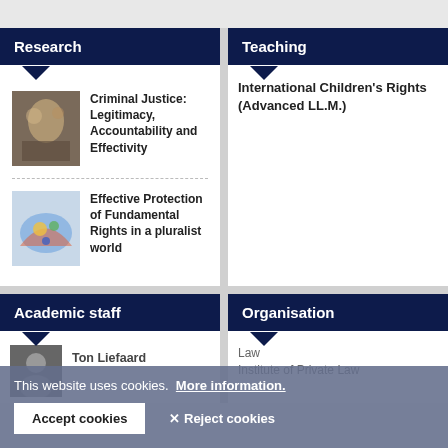Research
Criminal Justice: Legitimacy, Accountability and Effectivity
Effective Protection of Fundamental Rights in a pluralist world
Teaching
International Children's Rights (Advanced LL.M.)
Academic staff
Ton Liefaard
Organisation
Law
Institute of Private Law
This website uses cookies.  More information.
Accept cookies
✕ Reject cookies